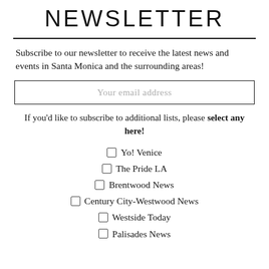NEWSLETTER
Subscribe to our newsletter to receive the latest news and events in Santa Monica and the surrounding areas!
Your email address
If you'd like to subscribe to additional lists, please select any here!
Yo! Venice
The Pride LA
Brentwood News
Century City-Westwood News
Westside Today
Palisades News